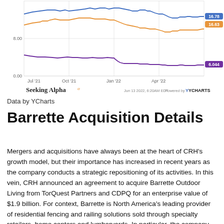[Figure (continuous-plot): Multi-line time series chart showing stock price data from Jul 2021 to Jun 2022. Blue line and orange line hover around 16-17 range (ending at 16.78 and 16.63 respectively), purple line trends downward from ~10 to 6.044. X-axis: Jul '21, Oct '21, Jan '22, Apr '22. Y-axis: 0.00, 8.00. Seeking Alpha logo and YCharts attribution. Data Jun 13 2022, 6:20AM EDT.]
Data by YCharts
Barrette Acquisition Details
Mergers and acquisitions have always been at the heart of CRH’s growth model, but their importance has increased in recent years as the company conducts a strategic repositioning of its activities. In this vein, CRH announced an agreement to acquire Barrette Outdoor Living from TorQuest Partners and CDPQ for an enterprise value of $1.9 billion. For context, Barrette is North America’s leading provider of residential fencing and railing solutions sold through specialty retailers, home centers and lumberyards. In particular, the company